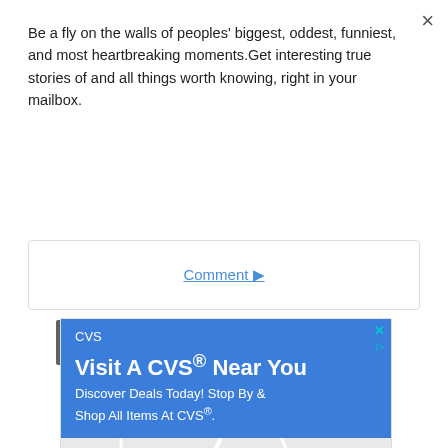Be a fly on the walls of peoples' biggest, oddest, funniest, and most heartbreaking moments.Get interesting true stories of and all things worth knowing, right in your mailbox.
Subscribe
Comment ▶
[Figure (screenshot): CVS advertisement with blue header reading 'Visit A CVS® Near You. Discover Deals Today! Stop By & Shop All Items At CVS®.' and a map showing Lotte Plaza Market - Ashburn location]